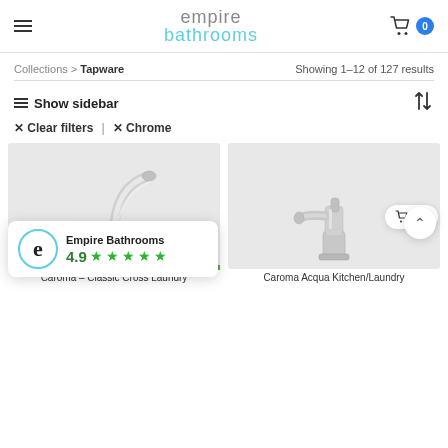empire bathrooms — Cart: 0
Collections > Tapware — Showing 1-12 of 127 results
≡ Show sidebar
× Clear filters | × Chrome
[Figure (photo): Chrome kitchen/laundry faucet with curved gooseneck spout on grey background — Caroma Classic Cross Laundry]
[Figure (photo): Chrome kitchen/laundry mixer tap with side spout on grey background — Caroma Acqua Kitchen/Laundry Mixer Chrome]
Empire Bathrooms 4.9 ★★★★★
Caroma – Classic Cross Laundry
Caroma Acqua Kitchen/Laundry